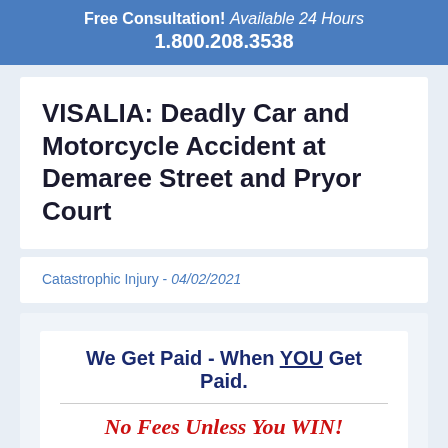Free Consultation! Available 24 Hours 1.800.208.3538
VISALIA: Deadly Car and Motorcycle Accident at Demaree Street and Pryor Court
Catastrophic Injury - 04/02/2021
We Get Paid - When YOU Get Paid.
No Fees Unless You WIN!